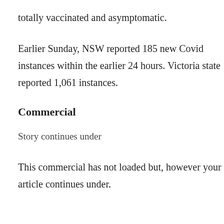totally vaccinated and asymptomatic.
Earlier Sunday, NSW reported 185 new Covid instances within the earlier 24 hours. Victoria state reported 1,061 instances.
Commercial
Story continues under
This commercial has not loaded but, however your article continues under.